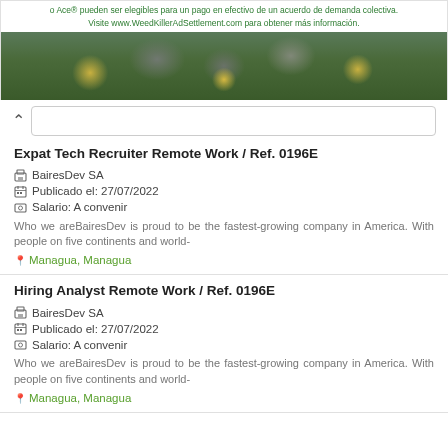[Figure (other): Advertisement banner with Spanish text about a class action settlement and an image of stones with yellow flowers and green plants.]
o Ace® pueden ser elegibles para un pago en efectivo de un acuerdo de demanda colectiva.
Visite www.WeedKillerAdSettlement.com para obtener más información.
Expat Tech Recruiter Remote Work / Ref. 0196E
BairesDev SA
Publicado el: 27/07/2022
Salario: A convenir
Who we areBairesDev is proud to be the fastest-growing company in America. With people on five continents and world-
Managua, Managua
Hiring Analyst Remote Work / Ref. 0196E
BairesDev SA
Publicado el: 27/07/2022
Salario: A convenir
Who we areBairesDev is proud to be the fastest-growing company in America. With people on five continents and world-
Managua, Managua